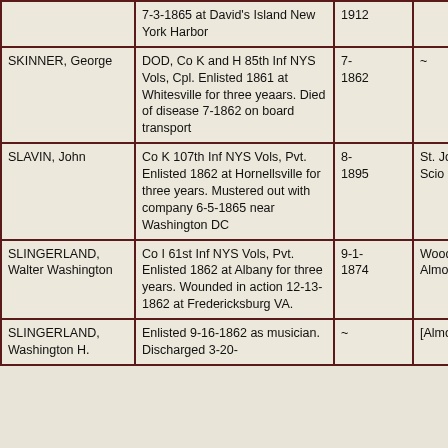| Name | Service Info | Date | Location |
| --- | --- | --- | --- |
|  | 7-3-1865 at David's Island New York Harbor | 1912 |  |
| SKINNER, George | DOD, Co K and H 85th Inf NYS Vols, Cpl. Enlisted 1861 at Whitesville for three yeaars. Died of disease 7-1862 on board transport | 7-1862 | ~ |
| SLAVIN, John | Co K 107th Inf NYS Vols, Pvt. Enlisted 1862 at Hornellsville for three years. Mustered out with company 6-5-1865 near Washington DC | 8-1895 | St. Joseph, Scio |
| SLINGERLAND, Walter Washington | Co I 61st Inf NYS Vols, Pvt. Enlisted 1862 at Albany for three years. Wounded in action 12-13-1862 at Fredericksburg VA. | 9-1-1874 | Woodlawn, Almond |
| SLINGERLAND, Washington H. | Enlisted 9-16-1862 as musician. Discharged 3-20- | ~ | [Almond] |